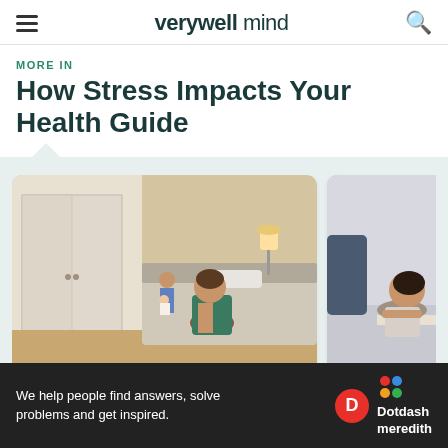verywell mind
MORE IN
How Stress Impacts Your Health Guide
[Figure (photo): A man sitting on edge of bed with head in hand, and a woman holding a baby in the background in a bedroom]
How Is Stress
[Figure (photo): A woman leaning over a desk or table, appearing stressed or tired]
How to Wat
We help people find answers, solve problems and get inspired. Dotdash meredith